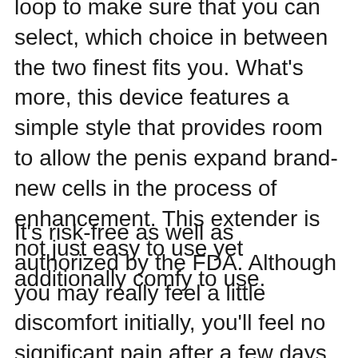loop to make sure that you can select, which choice in between the two finest fits you. What's more, this device features a simple style that provides room to allow the penis expand brand-new cells in the process of enhancement. This extender is not just easy to use yet additionally comfy to use.
It's risk-free as well as authorized by the FDA. Although you may really feel a little discomfort initially, you'll feel no significant pain after a few days as you continue to use this medical gadget.
Having a tiny penis can be such a substantial humiliation for several guys. The good news is, there are a number of approaches that can help enlarge the size of a penis. These